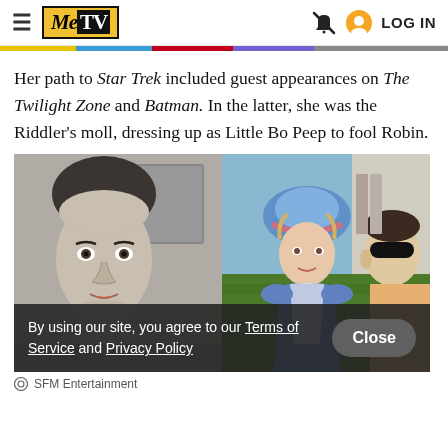MeTV — LOG IN
Her path to Star Trek included guest appearances on The Twilight Zone and Batman. In the latter, she was the Riddler's moll, dressing up as Little Bo Peep to fool Robin.
[Figure (photo): Two side-by-side photos: left is a black-and-white photo of a young person with a surprised expression; right is a color photo of a woman in a Little Bo Peep costume with a blue bonnet next to a man wearing a black eye mask, outdoors.]
SFM Entertainment